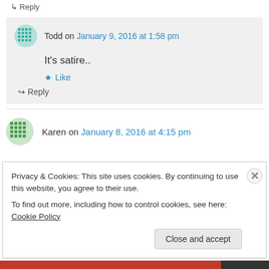↳ Reply
Todd on January 9, 2016 at 1:58 pm
It's satire..
★ Like
↳ Reply
Karen on January 8, 2016 at 4:15 pm
Privacy & Cookies: This site uses cookies. By continuing to use this website, you agree to their use.
To find out more, including how to control cookies, see here: Cookie Policy
Close and accept